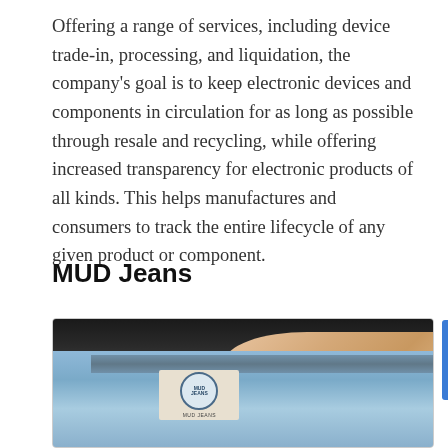Offering a range of services, including device trade-in, processing, and liquidation, the company's goal is to keep electronic devices and components in circulation for as long as possible through resale and recycling, while offering increased transparency for electronic products of all kinds. This helps manufactures and consumers to track the entire lifecycle of any given product or component.
MUD Jeans
[Figure (photo): Close-up photo of the back of a person wearing light blue MUD Jeans denim, with one hand resting on the back pocket. A circular MUD Jeans branded label/patch is visible on the waistband area.]